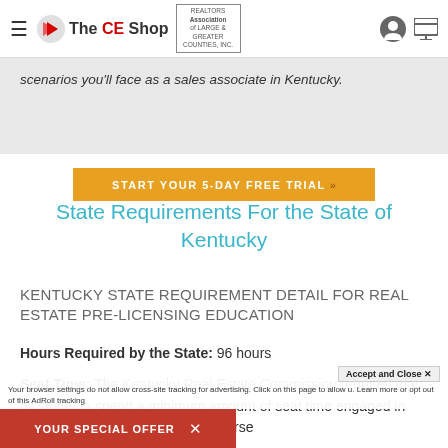The CE Shop — REALTORS Association
scenarios you'll face as a sales associate in Kentucky.
[Figure (screenshot): Orange button with text START YOUR 5-DAY FREE TRIAL]
State Requirements For the State of Kentucky
KENTUCKY STATE REQUIREMENT DETAIL FOR REAL ESTATE PRE-LICENSING EDUCATION
Hours Required by the State: 96 hours
Seat Time: The Kentucky Real Estate Commission requires that all students spend a minimum amount of seat time engaged in the course content. Our online cou...
Accept and Close ✕
Your browser settings do not allow cross-site tracking for advertising. Click on this page to allow u. Learn more or opt out of this AdRoll tracking
YOUR SPECIAL OFFER  ✕